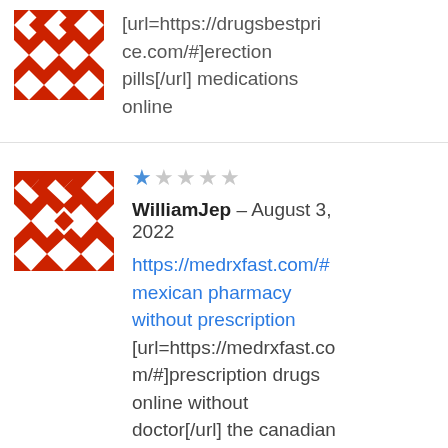[Figure (illustration): Partial red and white geometric avatar icon at top left, partially cropped]
[url=https://drugsbestprice.com/#]erection pills[/url] medications online
[Figure (illustration): Red and white geometric square avatar for WilliamJep]
★☆☆☆☆ WilliamJep – August 3, 2022 https://medrxfast.com/# mexican pharmacy without prescription [url=https://medrxfast.com/#]prescription drugs online without doctor[/url] the canadian